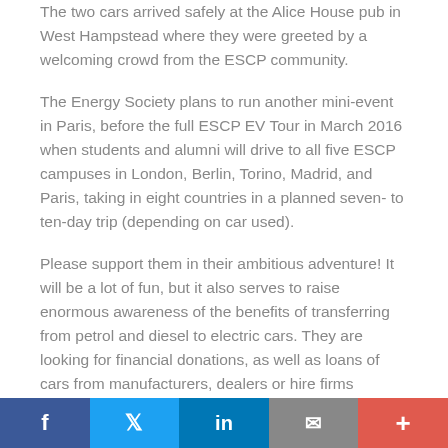The two cars arrived safely at the Alice House pub in West Hampstead where they were greeted by a welcoming crowd from the ESCP community.
The Energy Society plans to run another mini-event in Paris, before the full ESCP EV Tour in March 2016 when students and alumni will drive to all five ESCP campuses in London, Berlin, Torino, Madrid, and Paris, taking in eight countries in a planned seven- to ten-day trip (depending on car used).
Please support them in their ambitious adventure! It will be a lot of fun, but it also serves to raise enormous awareness of the benefits of transferring from petrol and diesel to electric cars. They are looking for financial donations, as well as loans of cars from manufacturers, dealers or hire firms wishing to promote the benefits of using EVs by demonstrating they are suited to a trip around Europe.